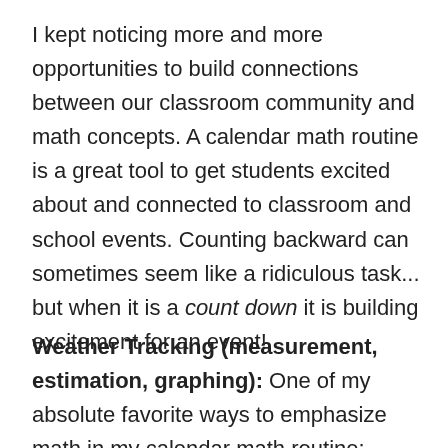I kept noticing more and more opportunities to build connections between our classroom community and math concepts. A calendar math routine is a great tool to get students excited about and connected to classroom and school events. Counting backward can sometimes seem like a ridiculous task... but when it is a count down it is building excitement for an event!
Weather Tracking (measurement, estimation, graphing): One of my absolute favorite ways to emphasize math in my calendar math routine: weather tracking! Weather tracking